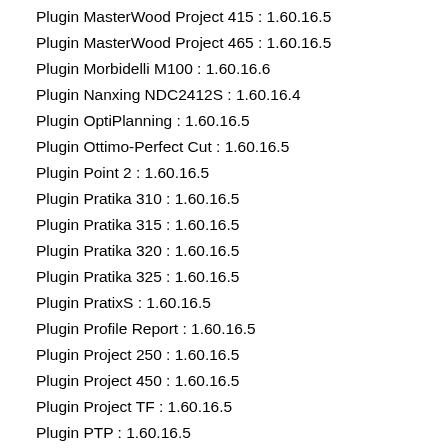Plugin MasterWood Project 415 : 1.60.16.5
Plugin MasterWood Project 465 : 1.60.16.5
Plugin Morbidelli M100 : 1.60.16.6
Plugin Nanxing NDC2412S : 1.60.16.4
Plugin OptiPlanning : 1.60.16.5
Plugin Ottimo-Perfect Cut : 1.60.16.5
Plugin Point 2 : 1.60.16.5
Plugin Pratika 310 : 1.60.16.5
Plugin Pratika 315 : 1.60.16.5
Plugin Pratika 320 : 1.60.16.5
Plugin Pratika 325 : 1.60.16.5
Plugin PratixS : 1.60.16.5
Plugin Profile Report : 1.60.16.5
Plugin Project 250 : 1.60.16.5
Plugin Project 450 : 1.60.16.5
Plugin Project TF : 1.60.16.5
Plugin PTP : 1.60.16.5
Plugin PTP 160 : 1.60.16.5
Plugin Puchased Item Report : 1.60.16.5
Plugin Router Aspan : 1.60.16.5